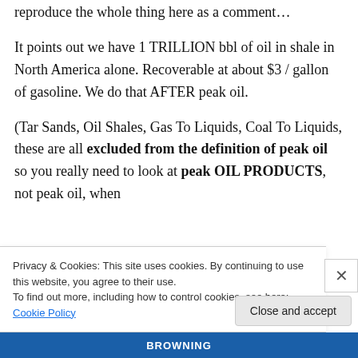reproduce the whole thing here as a comment…
It points out we have 1 TRILLION bbl of oil in shale in North America alone. Recoverable at about $3 / gallon of gasoline. We do that AFTER peak oil.
(Tar Sands, Oil Shales, Gas To Liquids, Coal To Liquids, these are all excluded from the definition of peak oil so you really need to look at peak OIL PRODUCTS, not peak oil, when
Privacy & Cookies: This site uses cookies. By continuing to use this website, you agree to their use.
To find out more, including how to control cookies, see here: Cookie Policy
Close and accept